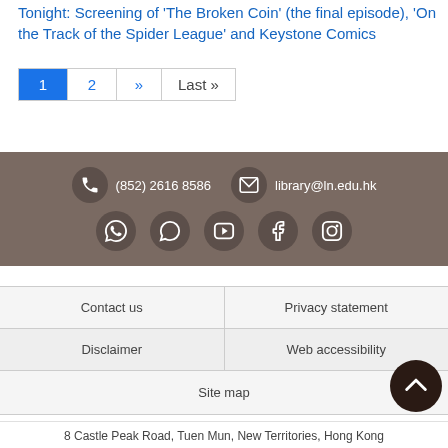Tonight: Screening of 'The Broken Coin' (the final episode), 'On the Track of the Spider League' and Keystone Comics
1  2  »  Last »
[Figure (infographic): Footer bar with phone (852) 2616 8586 and email library@ln.edu.hk, plus social media icons: WhatsApp, chat bubble, YouTube, Facebook, Instagram]
| Contact us | Privacy statement |
| --- | --- |
| Disclaimer | Web accessibility |
| Site map |  |
8 Castle Peak Road, Tuen Mun, New Territories, Hong Kong